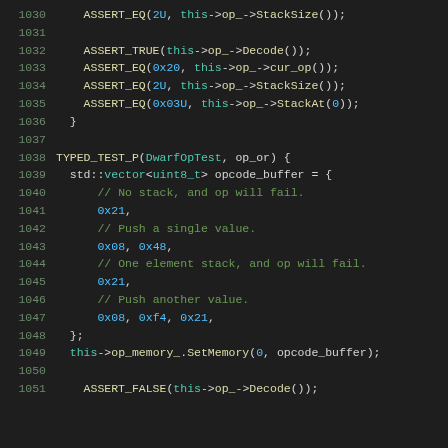Source code listing lines 1030-1051, C++ unit test code for DwarfOp operations including ASSERT_EQ, ASSERT_TRUE, TYPED_TEST_P for op_or test case with opcode buffer initialization and SetMemory call.